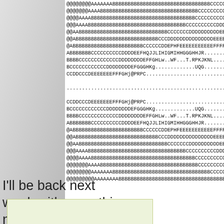[Figure (screenshot): Monospace code/character art showing rows of @, A, B, C, D, E, F, G, H, I, J characters forming a symmetric pattern, mirrored top and bottom with a gap in the middle]
I'll be back next week with something new, you have my word.
[Figure (other): Light green rectangle at bottom of page]